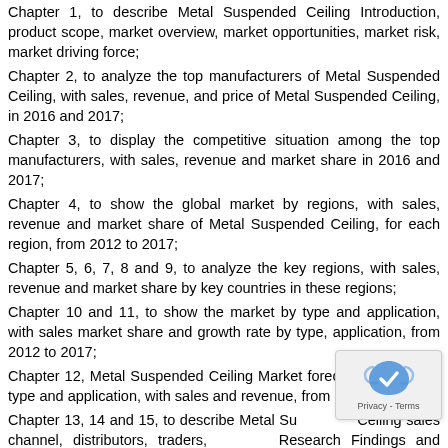Chapter 1, to describe Metal Suspended Ceiling Introduction, product scope, market overview, market opportunities, market risk, market driving force;
Chapter 2, to analyze the top manufacturers of Metal Suspended Ceiling, with sales, revenue, and price of Metal Suspended Ceiling, in 2016 and 2017;
Chapter 3, to display the competitive situation among the top manufacturers, with sales, revenue and market share in 2016 and 2017;
Chapter 4, to show the global market by regions, with sales, revenue and market share of Metal Suspended Ceiling, for each region, from 2012 to 2017;
Chapter 5, 6, 7, 8 and 9, to analyze the key regions, with sales, revenue and market share by key countries in these regions;
Chapter 10 and 11, to show the market by type and application, with sales market share and growth rate by type, application, from 2012 to 2017;
Chapter 12, Metal Suspended Ceiling Market forecast, by regions, type and application, with sales and revenue, from 2017 to 2022;
Chapter 13, 14 and 15, to describe Metal Suspended Ceiling sales channel, distributors, traders, dealers, Research Findings and Conclusion, appendix and data source.